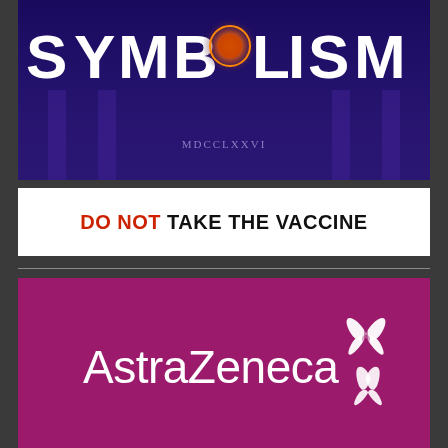[Figure (photo): Dark blue/purple background image with 'SYMBOLISM' text in large white letters and a glowing circular symbol replacing the 'O', with Roman numerals and decorative architectural elements below]
DO NOT TAKE THE VACCINE
[Figure (logo): AstraZeneca logo — white text 'AstraZeneca' with white butterfly/diamond symbol on magenta/dark pink background]